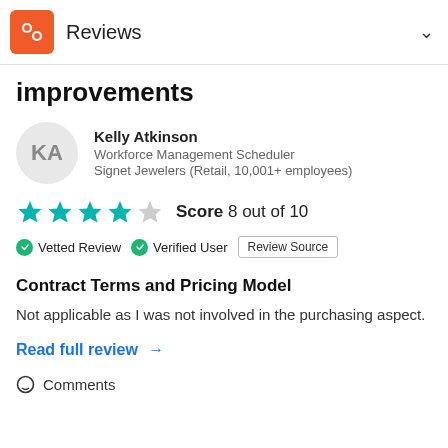Reviews
improvements
Kelly Atkinson
Workforce Management Scheduler
Signet Jewelers (Retail, 10,001+ employees)
Score 8 out of 10
Vetted Review   Verified User   Review Source
Contract Terms and Pricing Model
Not applicable as I was not involved in the purchasing aspect.
Read full review →
Comments